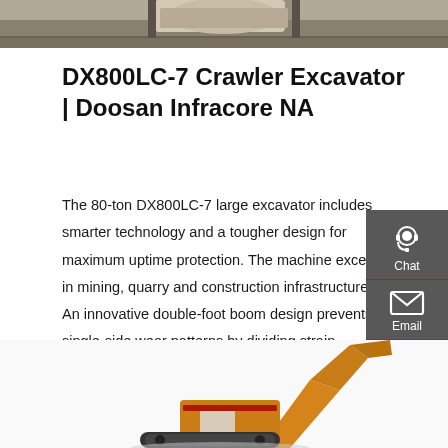[Figure (photo): Top portion of a crawler excavator working on dirt/gravel ground, partially visible at top of page]
DX800LC-7 Crawler Excavator | Doosan Infracore NA
The 80-ton DX800LC-7 large excavator includes smarter technology and a tougher design for maximum uptime protection. The machine excels in mining, quarry and construction infrastructure. An innovative double-foot boom design prevents single-side wear patterns by dividing strain between dual boom pins.
[Figure (infographic): Right-side sidebar with dark grey background showing Chat, Email, and Contact icons with labels]
Get a quote
[Figure (photo): Bottom portion of a Doosan crawler excavator (orange/red color) shown from the front/side, partially visible at bottom of page]